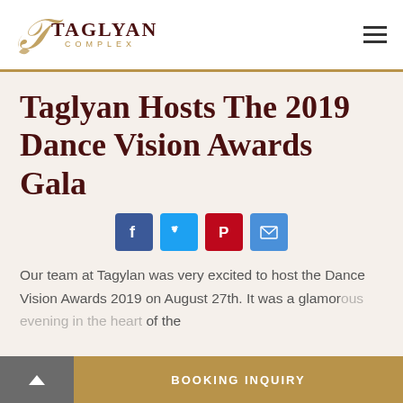Taglyan Complex logo and navigation
Taglyan Hosts The 2019 Dance Vision Awards Gala
[Figure (other): Social media share icons: Facebook (blue), Twitter (light blue), Pinterest (red), Email (blue)]
Our team at Tagylan was very excited to host the Dance Vision Awards 2019 on August 27th. It was a glamor...of the
BOOKING INQUIRY